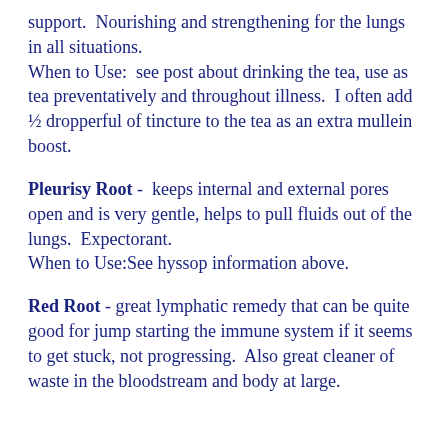support.  Nourishing and strengthening for the lungs in all situations.
When to Use:  see post about drinking the tea, use as tea preventatively and throughout illness.  I often add ½ dropperful of tincture to the tea as an extra mullein boost.
Pleurisy Root -  keeps internal and external pores open and is very gentle, helps to pull fluids out of the  lungs.  Expectorant.
When to Use:See hyssop information above.
Red Root - great lymphatic remedy that can be quite good for jump starting the immune system if it seems to get stuck, not progressing.  Also great cleaner of waste in the bloodstream and body at large.